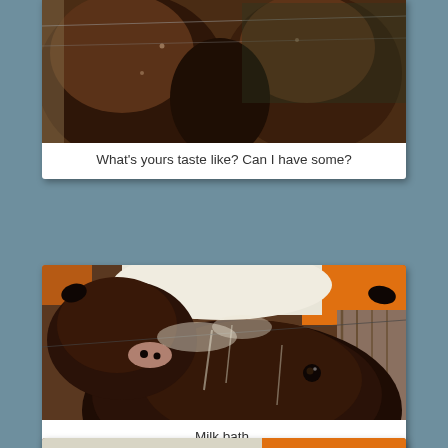[Figure (photo): Two brown calves close-up, touching heads near a fence with wire]
What's yours taste like? Can I have some?
[Figure (photo): Two wet brown calves looking up, covered in milk, with orange feeder visible at top and wooden fence in background]
Milk bath.
[Figure (photo): Partial view of calves near orange feeder equipment, partially cut off at bottom of page]